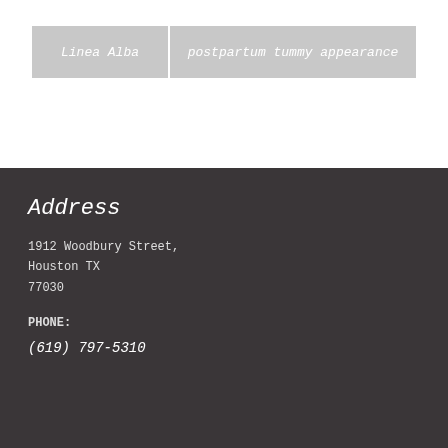| Linea Alba | postpartum tummy appearance |
| --- | --- |
Address
1912 Woodbury Street,
Houston TX
77030
PHONE:
(619) 797-5310